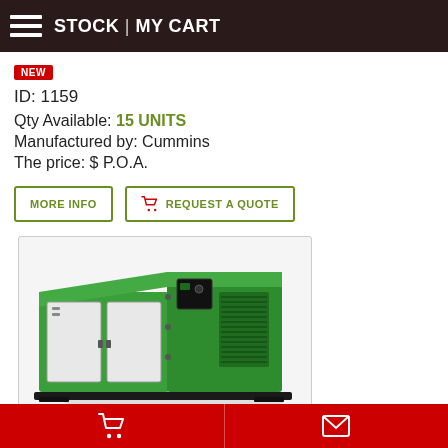STOCK | MY CART
NEW
ID: 1159
Qty Available: 15 UNITS
Manufactured by: Cummins
The price: $ P.O.A.
MORE INFO
REQUEST A QUOTE
[Figure (photo): Green Cummins diesel generator set in soundproof enclosure with white panel doors and ventilation grilles, shown at an angle.]
Cart | Envelope icons in red footer bar